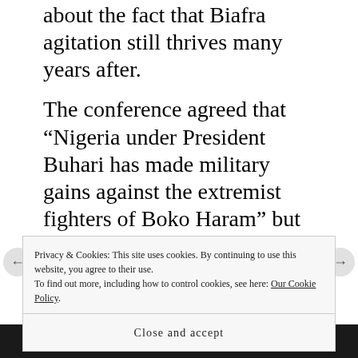about the fact that Biafra agitation still thrives many years after.
The conference agreed that “Nigeria under President Buhari has made military gains against the extremist fighters of Boko Haram” but observed that Nigeria’s varied conflicts have kept more than two million people displaced and weakened stability in the Lake Chad Basin and the Sahel
Privacy & Cookies: This site uses cookies. By continuing to use this website, you agree to their use.
To find out more, including how to control cookies, see here: Our Cookie Policy
Close and accept
[Figure (logo): Sensei logo on dark background bar at bottom of page]